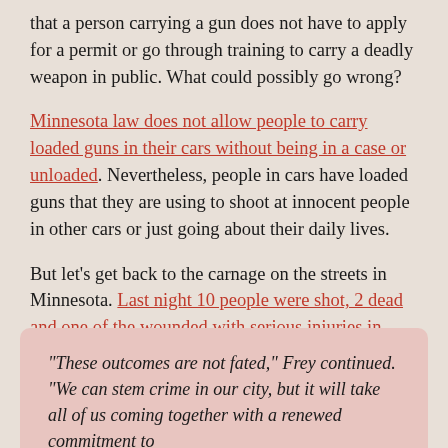that a person carrying a gun does not have to apply for a permit or go through training to carry a deadly weapon in public. What could possibly go wrong?
Minnesota law does not allow people to carry loaded guns in their cars without being in a case or unloaded. Nevertheless, people in cars have loaded guns that they are using to shoot at innocent people in other cars or just going about their daily lives.
But let's get back to the carnage on the streets in Minnesota. Last night 10 people were shot, 2 dead and one of the wounded with serious injuries in downtown Minneapolis. It was an argument between 2 people. When guns are readily available, the inevitable happens. Another article about this deadly incident quotes the Minneapolis Mayor and Police Chief:
“These outcomes are not fated,” Frey continued. “We can stem crime in our city, but it will take all of us coming together with a renewed commitment to